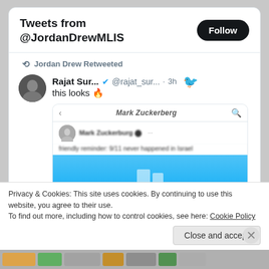Tweets from @JordanDrewMLIS
Jordan Drew Retweeted
Rajat Sur... @rajat_sur... · 3h
this looks 🔥
[Figure (screenshot): Embedded screenshot of a Mark Zuckerberg Facebook/mobile post with blurred text and an image of what appears to be the Twin Towers]
Privacy & Cookies: This site uses cookies. By continuing to use this website, you agree to their use.
To find out more, including how to control cookies, see here: Cookie Policy
Close and accept